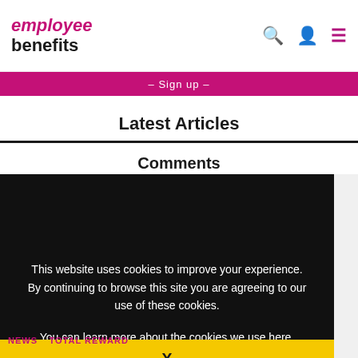employee benefits
Sign up
Latest Articles
Comments
This website uses cookies to improve your experience. By continuing to browse this site you are agreeing to our use of these cookies.
You can learn more about the cookies we use here.
X
NEWS   TOTAL REWARD